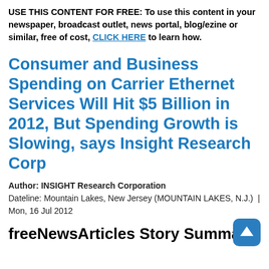USE THIS CONTENT FOR FREE: To use this content in your newspaper, broadcast outlet, news portal, blog/ezine or similar, free of cost, CLICK HERE to learn how.
Consumer and Business Spending on Carrier Ethernet Services Will Hit $5 Billion in 2012, But Spending Growth is Slowing, says Insight Research Corp
Author: INSIGHT Research Corporation
Dateline: Mountain Lakes, New Jersey (MOUNTAIN LAKES, N.J.)  | Mon, 16 Jul 2012
freeNewsArticles Story Summary.